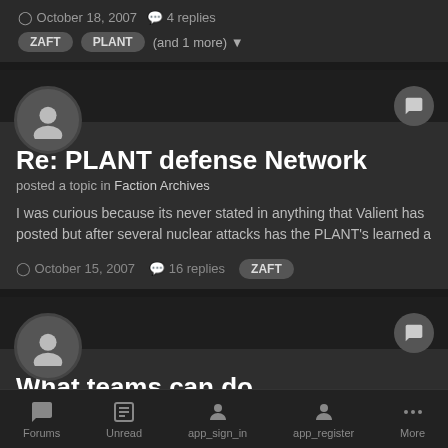October 18, 2007  4 replies
ZAFT  PLANT  (and 1 more)
Re: PLANT defense Network
posted a topic in Faction Archives
I was curious because its never stated in anything that Valient has posted but after several nuclear attacks has the PLANT's learned a
October 15, 2007  16 replies  ZAFT
What teams can do
Forums  Unread  app_sign_in  app_register  More